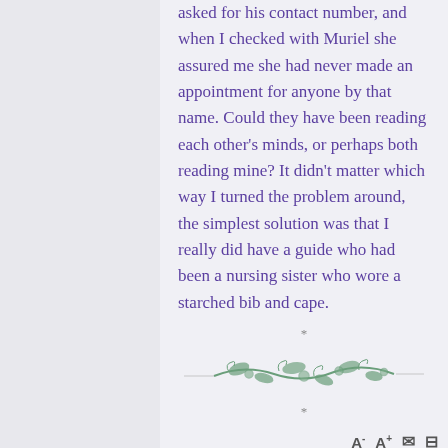asked for his contact number, and when I checked with Muriel she assured me she had never made an appointment for anyone by that name. Could they have been reading each other’s minds, or perhaps both reading mine? It didn't matter which way I turned the problem around, the simplest solution was that I really did have a guide who had been a nursing sister who wore a starched bib and cape.
[Figure (illustration): Decorative floral/vine divider ornament in muted green color, centered on page, with asterisk separators above and below]
A- A+ ✉ 🗖
You might be interested with the following
RELATED POSTS